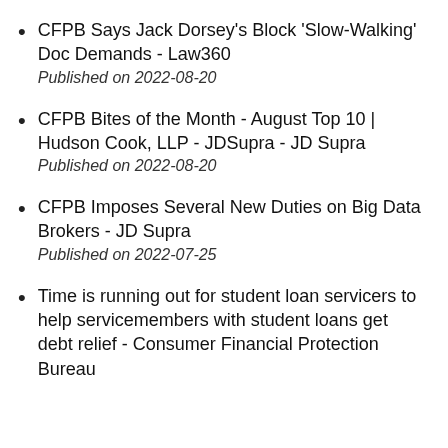CFPB Says Jack Dorsey's Block 'Slow-Walking' Doc Demands - Law360
Published on 2022-08-20
CFPB Bites of the Month - August Top 10 | Hudson Cook, LLP - JDSupra - JD Supra
Published on 2022-08-20
CFPB Imposes Several New Duties on Big Data Brokers - JD Supra
Published on 2022-07-25
Time is running out for student loan servicers to help servicemembers with student loans get debt relief - Consumer Financial Protection Bureau